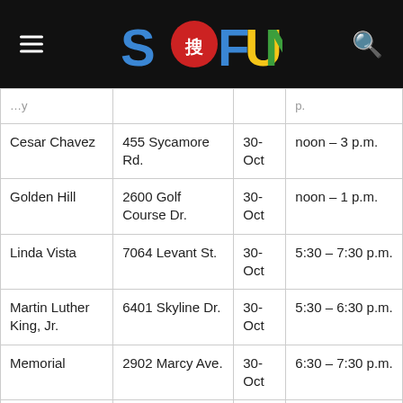SoFun (logo with hamburger menu and search icon)
| Park | Address | Date | Time |
| --- | --- | --- | --- |
| [partial - cut off] |  |  | p. (cut off) |
| Cesar Chavez | 455 Sycamore Rd. | 30-Oct | noon – 3 p.m. |
| Golden Hill | 2600 Golf Course Dr. | 30-Oct | noon – 1 p.m. |
| Linda Vista | 7064 Levant St. | 30-Oct | 5:30 – 7:30 p.m. |
| Martin Luther King, Jr. | 6401 Skyline Dr. | 30-Oct | 5:30 – 6:30 p.m. |
| Memorial | 2902 Marcy Ave. | 30-Oct | 6:30 – 7:30 p.m. |
| Montgomery Waller | 3020 Coronado Ave. | 30-Oct | 5 – 8 p.m. |
| Mountain View | 641 So. (partial) | 30- (partial) | 6 – 7 (partial) |